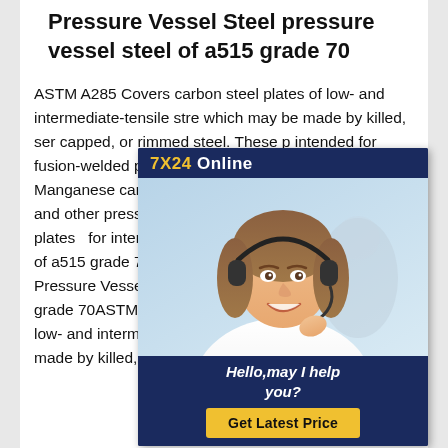Pressure Vessel Steel pressure vessel steel of a515 grade 70
ASTM A285 Covers carbon steel plates of low- and intermediate-tensile strengths which may be made by killed, semi-killed, capped, or rimmed steel. These plates are intended for fusion-welded pressure vessels. ASTM A299 Manganese-silicon carbon steel plates for use in welded boilers and other pressure vessels. ASTM A515 Carbon-silicon steel plates intended for intermediate- and higher pressure vessel steel of a515 grade 70Grades and Materials for Boiler and Pressure Vessel Steel pressure vessel steel of a515 grade 70ASTM A285 Covers carbon steel plates of low- and intermediate-tensile strengths which may be made by killed, semi-killed,
[Figure (photo): Customer service chat widget showing a woman with a headset smiling, with '7X24 Online' header in dark blue and gold, 'Hello, may I help you?' text, and a 'Get Latest Price' yellow button]